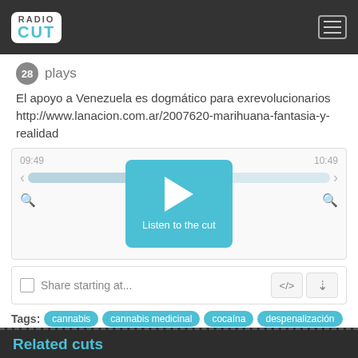RadioCut — navigation header
28 plays
El apoyo a Venezuela es dogmático para exrevolucionarios http://www.lanacion.com.ar/2007620-marihuana-fantasia-y-realidad
[Figure (screenshot): Audio player widget with progress bar, play button overlay labeled 'Listen to the cut', time markers 09:49 and 10:49]
Share starting at...
Tags: cannabis  cannabis medicinal  cocaína  despenalización  drogas de diseño  legalización  marihuana  narcotráfico
Related cuts